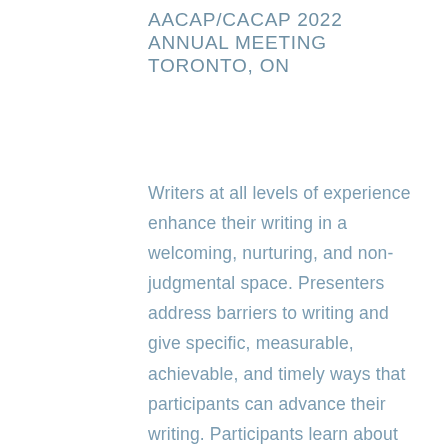AACAP/CACAP 2022 ANNUAL MEETING TORONTO, ON
Writers at all levels of experience enhance their writing in a welcoming, nurturing, and non-judgmental space. Presenters address barriers to writing and give specific, measurable, achievable, and timely ways that participants can advance their writing. Participants learn about opportunities to incorporate various forms of writing into their